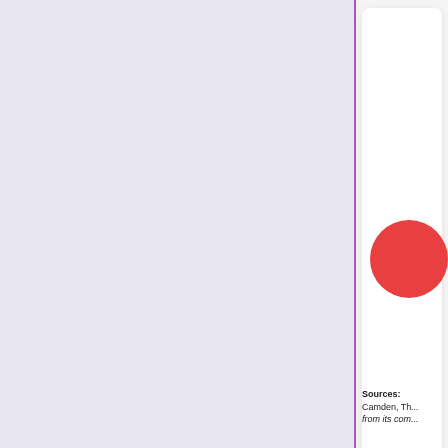[Figure (other): Left panel with lavender/light purple background, bordered on the right by a purple vertical line]
[Figure (other): Right panel showing a white card with a red circle partially visible, set against a light grey background]
Sources: Camden, Th... from its com...